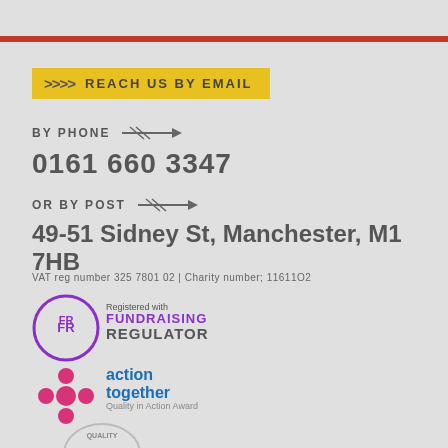>>> REACH US BY EMAIL
BY PHONE
0161 660 3347
OR BY POST
49-51 Sidney St, Manchester, M1 7HB
VAT reg number 325 7801 02 | Charity number; 11611O2
[Figure (logo): Fundraising Regulator FR logo with purple circle and text]
[Figure (logo): Action Together Quality in Action Award logo with pink star shape]